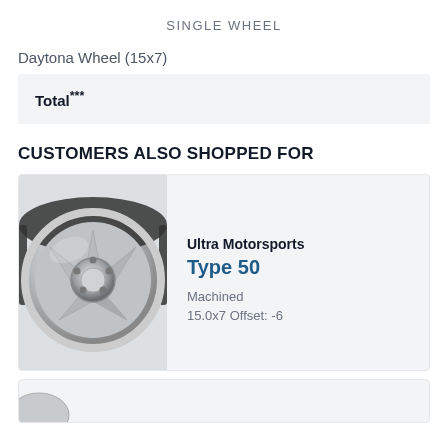SINGLE WHEEL
Daytona Wheel (15x7)
| Total*** |
CUSTOMERS ALSO SHOPPED FOR
[Figure (photo): Chrome/polished spoke wheel - Ultra Motorsports Type 50, 15.0x7, Machined finish, Offset: -6]
Ultra Motorsports
Type 50
Machined
15.0x7 Offset: -6